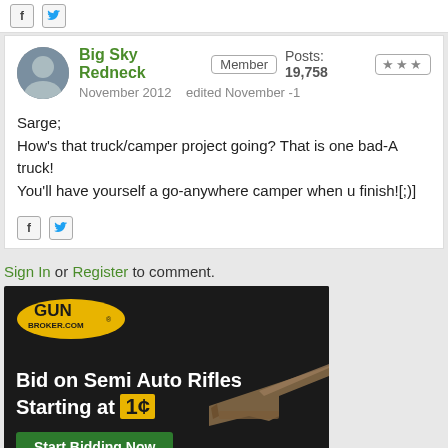f [twitter icon]
Big Sky Redneck | Member | Posts: 19,758 | ★★★ | November 2012 | edited November -1
Sarge;
How's that truck/camper project going? That is one bad-A truck!
You'll have yourself a go-anywhere camper when u finish![;)]
f [twitter icon]
Sign In or Register to comment.
[Figure (infographic): GunBroker.com advertisement: dark background with a semi-auto rifle, yellow GunBroker.com logo, text 'Bid on Semi Auto Rifles Starting at 1¢', and green 'Start Bidding Now' button]